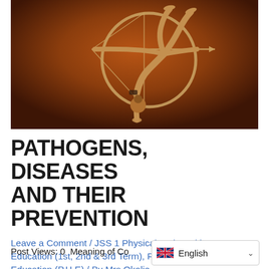[Figure (photo): A golden-toned artistic photograph of a gymnast/acrobat balancing on one hand in a back-bend pose while holding a bow and arrow, against a warm brown/amber background.]
PATHOGENS, DISEASES AND THEIR PREVENTION
Leave a Comment / JSS 1 Physical And Health Education (1st, 2nd & 3rd Term), Physcial And Health Education (P.H.E) / By Mrs Okolie
Post Views: 0 Meaning of Co...